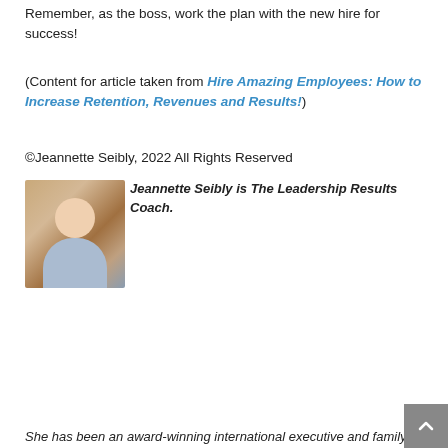Remember, as the boss, work the plan with the new hire for success!
(Content for article taken from Hire Amazing Employees: How to Increase Retention, Revenues and Results!)
©Jeannette Seibly, 2022 All Rights Reserved
[Figure (photo): Headshot photo of Jeannette Seibly, a woman with short light hair, wearing a blue shirt, smiling]
Jeannette Seibly is The Leadership Results Coach. She has been an award-winning international executive and family business management consultant, keynote speaker, and author for over 29 years. Her focus is to guide leaders to make a positive difference. Feel stuck moving your team forward? Want straightforward counsel on how to do it? Let's chat! Contact Jeannette for a confidential conversation.